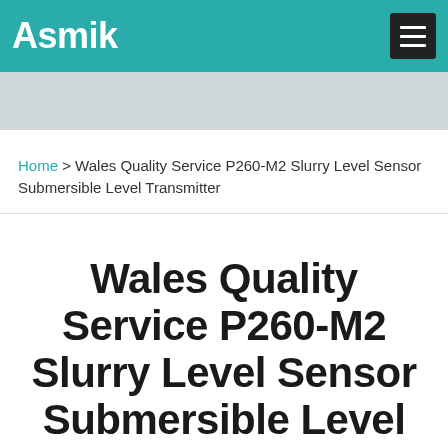Asmik
Home > Wales Quality Service P260-M2 Slurry Level Sensor Submersible Level Transmitter
Wales Quality Service P260-M2 Slurry Level Sensor Submersible Level Transmitter